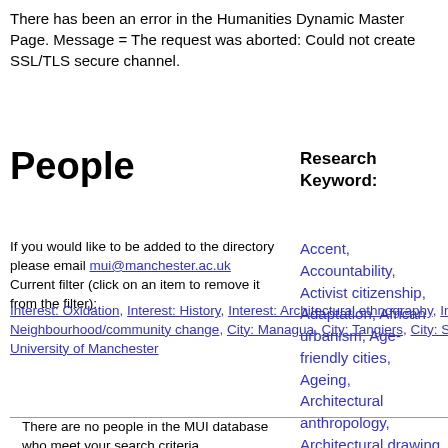There has been an error in the Humanities Dynamic Master Page. Message = The request was aborted: Could not create SSL/TLS secure channel.
People
Research Keyword:
If you would like to be added to the directory please email mui@manchester.ac.uk
Current filter (click on an item to remove it from the filter):
Interest: Oxidation, Interest: History, Interest: Architectural ethnography, Interest: Low-income housing, Interest: Neighbourhood/community change, City: Managua, City: Tangiers, City: St. John's, School: Office for Social Responsibility, University of Manchester
Accent, Accountability, Activist citizenship, Adaptation, African urbanism, Age-friendly cities, Ageing, Architectural anthropology, Architectural drawing, Architectural ethnography, Architecture, Art, Aspiration, Atmosphere, Austerity,
There are no people in the MUI database who meet your search criteria